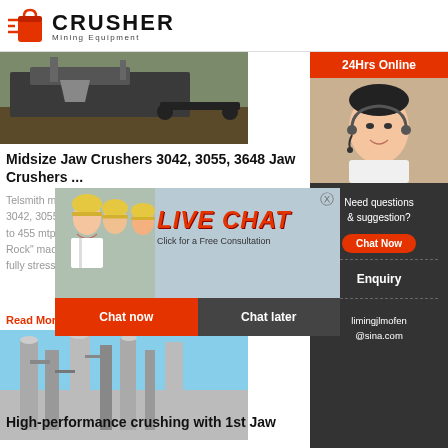CRUSHER Mining Equipment
[Figure (photo): Mining jaw crusher equipment outdoors]
Midsize Jaw Crushers 3042, 3055, 3648 Jaw Crushers ...
Telsmith mi... 3042, 3055... to 455 mtph... Rock" mach... fully stress-...
Read More
[Figure (photo): High-performance industrial crushing facility]
High-performance crushing with 1st Jaw
[Figure (infographic): Live Chat overlay with workers and chat now/chat later buttons]
[Figure (infographic): Right sidebar: 24Hrs Online, live chat support face, Need questions & suggestion, Chat Now, Enquiry, limingjlmofen@sina.com]